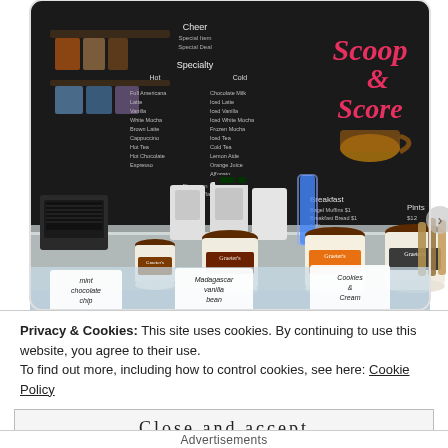[Figure (photo): Interior of Scoop & Score ice cream shop. A dark chalkboard wall displays the menu including Specialty Hot and Cold drinks, Breakfast items, and a colorful 'Scoop & Score' logo with a coffee cup. The counter shows multiple Graeter's ice cream tubs labeled Mint Chocolate Chip, Madagascar Vanilla Bean, and Cookies & Cream. Various coffee machines, bottles, and a toaster oven are visible on the counter.]
Privacy & Cookies: This site uses cookies. By continuing to use this website, you agree to their use.
To find out more, including how to control cookies, see here: Cookie Policy
Close and accept
Advertisements